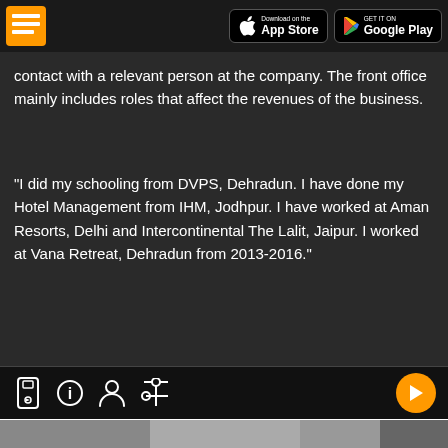[Figure (screenshot): App store download buttons for Apple App Store and Google Play]
contact with a relevant person at the company. The front office mainly includes roles that affect the revenues of the business.
"I did my schooling from DVPS, Dehradun. I have done my Hotel Management from IHM, Jodhpur. I have worked at Aman Resorts, Delhi and Intercontinental The Lalit, Jaipur. I worked at Vana Retreat, Dehradun from 2013-2016."
[Figure (screenshot): App toolbar with video, info, profile, settings icons and orange play button]
[Figure (photo): Photo of people in hospitality/chef setting]